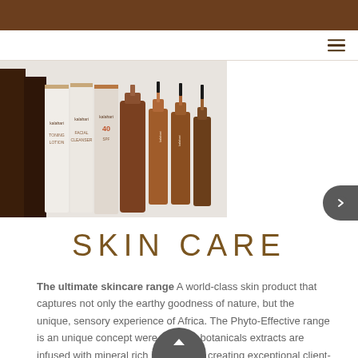[Figure (photo): Product photo showing Kalahari skincare product bottles and tubes arranged together, including SPF 40 sunscreen and various serums with dropper bottles in brown/amber glass]
SKIN CARE
The ultimate skincare range A world-class skin product that captures not only the earthy goodness of nature, but the unique, sensory experience of Africa. The Phyto-Effective range is an unique concept were the best botanicals extracts are infused with mineral rich ingredients, creating exceptional client-centric products.